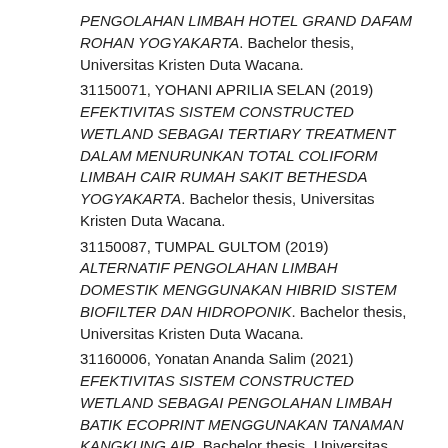PENGOLAHAN LIMBAH HOTEL GRAND DAFAM ROHAN YOGYAKARTA. Bachelor thesis, Universitas Kristen Duta Wacana.
31150071, YOHANI APRILIA SELAN (2019) EFEKTIVITAS SISTEM CONSTRUCTED WETLAND SEBAGAI TERTIARY TREATMENT DALAM MENURUNKAN TOTAL COLIFORM LIMBAH CAIR RUMAH SAKIT BETHESDA YOGYAKARTA. Bachelor thesis, Universitas Kristen Duta Wacana.
31150087, TUMPAL GULTOM (2019) ALTERNATIF PENGOLAHAN LIMBAH DOMESTIK MENGGUNAKAN HIBRID SISTEM BIOFILTER DAN HIDROPONIK. Bachelor thesis, Universitas Kristen Duta Wacana.
31160006, Yonatan Ananda Salim (2021) EFEKTIVITAS SISTEM CONSTRUCTED WETLAND SEBAGAI PENGOLAHAN LIMBAH BATIK ECOPRINT MENGGUNAKAN TANAMAN KANGKUNG AIR. Bachelor thesis, Universitas Kristen Duta Wacana.
31160011, Joshua Christian Arransa Ranti (2021) EFEKTIVITAS SISTEM CONSTRUCTED WETLAND SEBAGAI TERTIARY TREATMENT UNTUK MENURUNKAN JUMLAH BAKTERI PATOGEN PADA LIMBAH RUMAH SAKIT. Bachelor thesis,